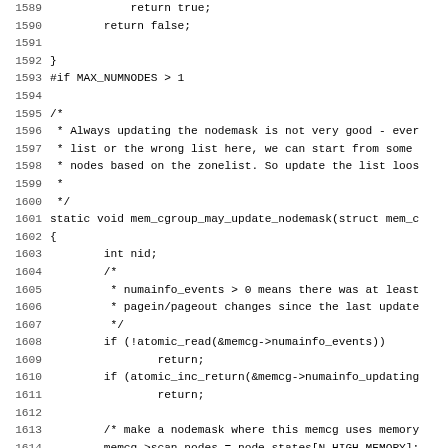Source code listing lines 1589-1621, C kernel code for mem_cgroup_may_update_nodemask function